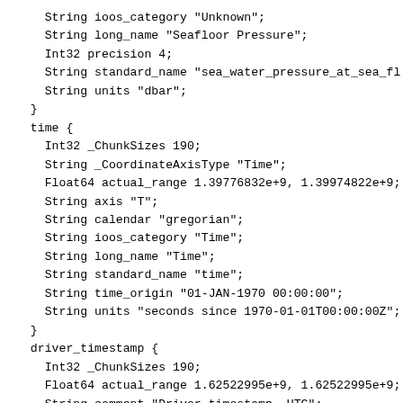String ioos_category "Unknown";
    String long_name "Seafloor Pressure";
    Int32 precision 4;
    String standard_name "sea_water_pressure_at_sea_fl
    String units "dbar";
  }
  time {
    Int32 _ChunkSizes 190;
    String _CoordinateAxisType "Time";
    Float64 actual_range 1.39776832e+9, 1.39974822e+9;
    String axis "T";
    String calendar "gregorian";
    String ioos_category "Time";
    String long_name "Time";
    String standard_name "time";
    String time_origin "01-JAN-1970 00:00:00";
    String units "seconds since 1970-01-01T00:00:00Z";
  }
  driver_timestamp {
    Int32 _ChunkSizes 190;
    Float64 actual_range 1.62522995e+9, 1.62522995e+9;
    String comment "Driver timestamp, UTC";
    String ioos_category "Time";
    String long_name "Driver Timestamp, UTC";
    String time_origin "01-JAN-1970 00:00:00";
    String units "seconds since 1970-01-01T00:00:0